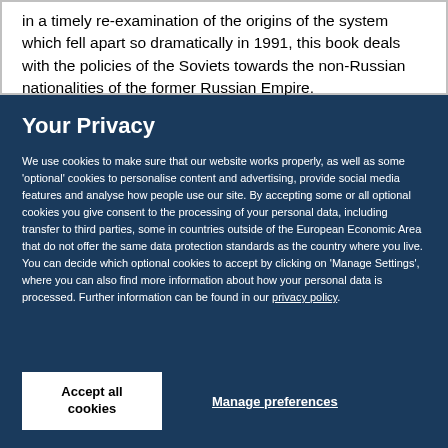in a timely re-examination of the origins of the system which fell apart so dramatically in 1991, this book deals with the policies of the Soviets towards the non-Russian nationalities of the former Russian Empire.
Your Privacy
We use cookies to make sure that our website works properly, as well as some 'optional' cookies to personalise content and advertising, provide social media features and analyse how people use our site. By accepting some or all optional cookies you give consent to the processing of your personal data, including transfer to third parties, some in countries outside of the European Economic Area that do not offer the same data protection standards as the country where you live. You can decide which optional cookies to accept by clicking on 'Manage Settings', where you can also find more information about how your personal data is processed. Further information can be found in our privacy policy.
Accept all cookies
Manage preferences